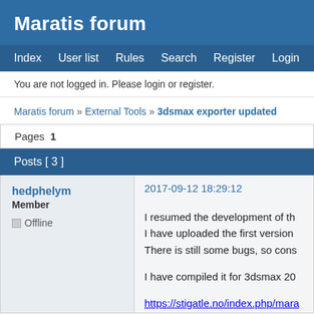Maratis forum
Index  User list  Rules  Search  Register  Login
You are not logged in. Please login or register.
Maratis forum » External Tools » 3dsmax exporter updated
Pages  1
Posts [ 3 ]
hedphelym
Member
Offline
2017-09-12 18:29:12
I resumed the development of th...
I have uploaded the first version...
There is still some bugs, so cons...

I have compiled it for 3dsmax 20...

https://stigatle.no/index.php/mara...

I have created a video tutorial, a...
website.